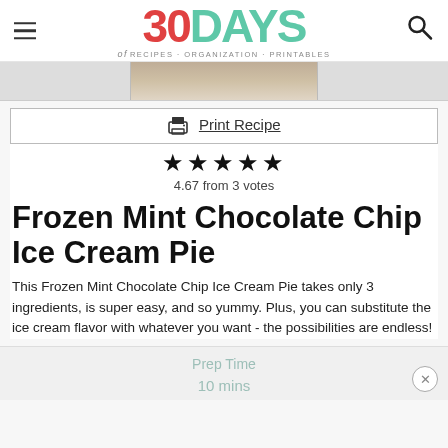30 DAYS of RECIPES · ORGANIZATION · PRINTABLES
[Figure (photo): Partial image of a pie or dessert dish, cropped, shown at top of content area]
Print Recipe
4.67 from 3 votes
Frozen Mint Chocolate Chip Ice Cream Pie
This Frozen Mint Chocolate Chip Ice Cream Pie takes only 3 ingredients, is super easy, and so yummy. Plus, you can substitute the ice cream flavor with whatever you want - the possibilities are endless!
Prep Time
10 mins